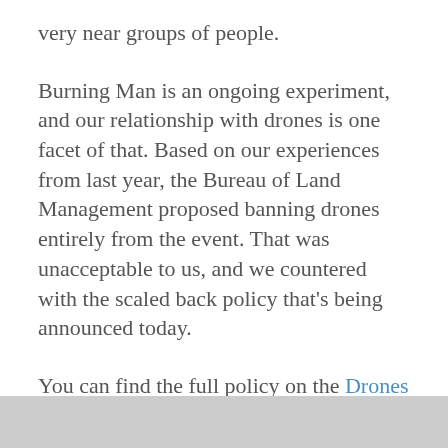very near groups of people.
Burning Man is an ongoing experiment, and our relationship with drones is one facet of that. Based on our experiences from last year, the Bureau of Land Management proposed banning drones entirely from the event. That was unacceptable to us, and we countered with the scaled back policy that's being announced today.
You can find the full policy on the Drones page (as well as the application form for 2015). In essence we are taking applications for drones in four categories: media coverage, event operations, art documentation and art performance. Applications begin today and close August 14. While media coverage and event operations are largely self-explanatory, the other two categories might require more info. Art documentatio